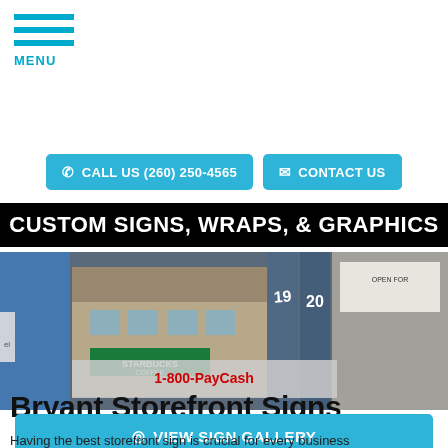[Figure (logo): Hamburger menu icon with three blue horizontal bars and MENU text below]
CALL US (260) 250-4565
CONTACT US
CUSTOM SIGNS, WRAPS, & GRAPHICS
[Figure (photo): Hero image collage showing storefront signs including Starbucks Coffee, a vehicle wrap with 1-800-PayCash, and urban building signage. Text overlay: GET A FREE QUOTE and Design | Production | Installation]
Bryant Storefront Signs
VIEW SIGN GALLERY
Having the best storefront sign is crucial for every business